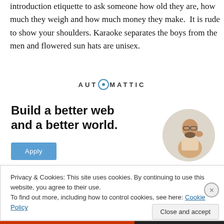introduction etiquette to ask someone how old they are, how much they weigh and how much money they make.  It is rude to show your shoulders. Karaoke separates the boys from the men and flowered sun hats are unisex.
[Figure (logo): AUTOMATTIC logo with compass/circle icon replacing the letter O]
[Figure (infographic): Automattic recruitment ad: 'Build a better web and a better world.' with an Apply button and a circular photo of a man thinking]
Privacy & Cookies: This site uses cookies. By continuing to use this website, you agree to their use.
To find out more, including how to control cookies, see here: Cookie Policy
Close and accept